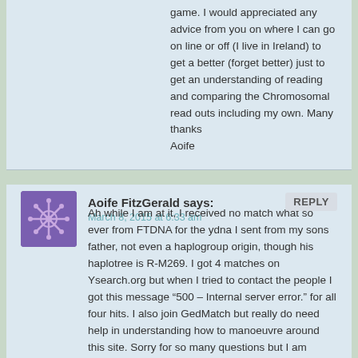game. I would appreciated any advice from you on where I can go on line or off (I live in Ireland) to get a better (forget better) just to get an understanding of reading and comparing the Chromosomal read outs including my own. Many thanks
Aoife
REPLY
Aoife FitzGerald says:
March 8, 2015 at 6:33 am
Ah while I am at it, I received no match what so ever from FTDNA for the ydna I sent from my sons father, not even a haplogroup origin, though his haplotree is R-M269. I got 4 matches on Ysearch.org but when I tried to contact the people I got this message “500 – Internal server error.” for all four hits. I also join GedMatch but really do need help in understanding how to manoeuvre around this site. Sorry for so many questions but I am eager to learn
Aoife